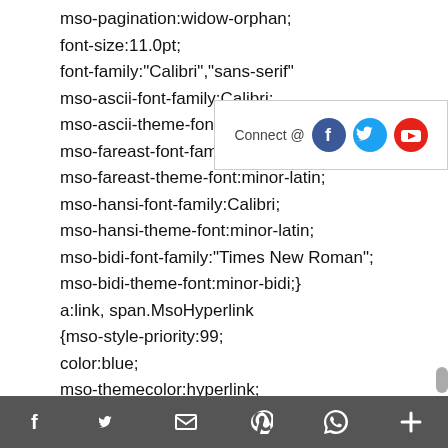mso-pagination:widow-orphan;
font-size:11.0pt;
font-family:"Calibri","sans-serif"
mso-ascii-font-family:Calibri;
mso-ascii-theme-font:minor-latin;
mso-fareast-font-family:Calibri;
mso-fareast-theme-font:minor-latin;
mso-hansi-font-family:Calibri;
mso-hansi-theme-font:minor-latin;
mso-bidi-font-family:"Times New Roman";
mso-bidi-theme-font:minor-bidi;}
a:link, span.MsoHyperlink
{mso-style-priority:99;
color:blue;
mso-themecolor:hyperlink;
text-decoration:underline;
text-underline[emoji]ingle;}
[Figure (infographic): Connect @ box with Facebook, Twitter, and YouTube social media icons]
f  [twitter]  [mail]  [pinterest]  [whatsapp]  +